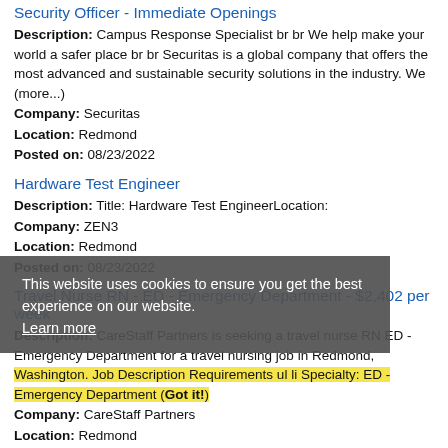Security Officer - Immediate Openings
Description: Campus Response Specialist br br We help make your world a safer place br br Securitas is a global company that offers the most advanced and sustainable security solutions in the industry. We (more...)
Company: Securitas
Location: Redmond
Posted on: 08/23/2022
Hardware Test Engineer
Description: Title: Hardware Test EngineerLocation:
Company: ZEN3
Location: Redmond
Posted on: 08/23/2022
Travel Nurse RN - ED - Emergency Department - $2,402 per week
Description: CareStaff Partners is seeking a travel nurse RN ED - Emergency Department for a travel nursing job in Redmond, Washington. Job Description Requirements ul li Specialty: ED - Emergency Department (more...)
Company: CareStaff Partners
Location: Redmond
Posted on: 08/23/2022